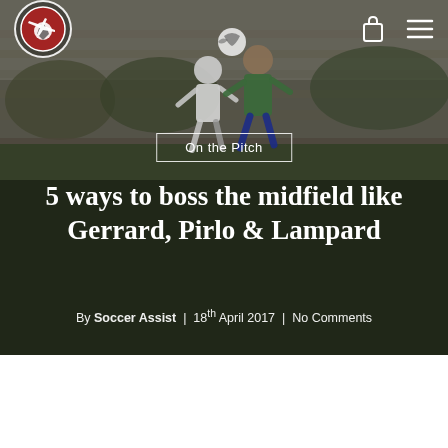[Figure (photo): Soccer/football match photo used as hero background: two players jumping to head the ball, one in white and one in green (Massasoit jersey), with spectators in stands visible in background, outdoor field setting with trees.]
Soccer Assist logo (navigation bar with logo, shopping bag icon, and hamburger menu icon)
On the Pitch
5 ways to boss the midfield like Gerrard, Pirlo & Lampard
By Soccer Assist | 18th April 2017 | No Comments